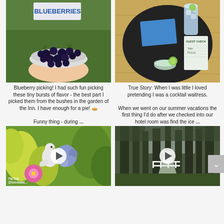[Figure (photo): Top-left photo: person holding bowl of fresh-picked blueberries with a blueberries sign in background greenery]
[Figure (photo): Top-right photo: dark round tray with two drinks (water/cocktail with lime), blue napkins and a guest check on a wooden table]
Blueberry picking! I had such fun picking these tiny bursts of flavor - the best part I picked them from the bushes in the garden of the Inn. I have enough for a pie! 🥧

Funny thing - during ...
True Story: When I was little I loved pretending I was a cocktail waitress.

When we went on our summer vacations the first thing I'd do after we checked into our hotel room was find the ice ...
[Figure (photo): Bottom-left video thumbnail: colorful garden flowers including pink cosmos, blue hydrangea, and yellow-green foliage with white ceramic bird figurine; TikTok video play button overlay]
[Figure (photo): Bottom-right video thumbnail: tall forest trees along a path with a white fence; TikTok video play button overlay]